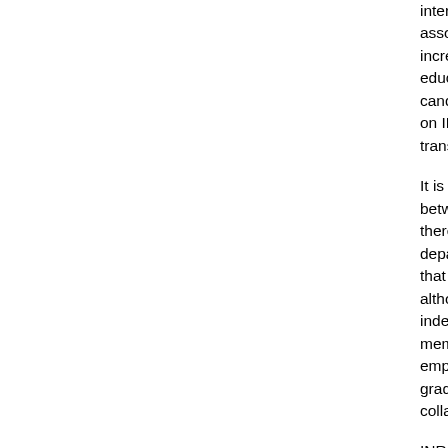international co associate team increasingly in education are a candidates, 15 on INRIA proje transfer is also
It is interesting between INRIA there are no ot departments. I that are each c although collab indeed interna members. The employees, bu graduate stude collaborators.
INRIA has 5 th project-team is theme includes The cognitive s learning, graph The embed li